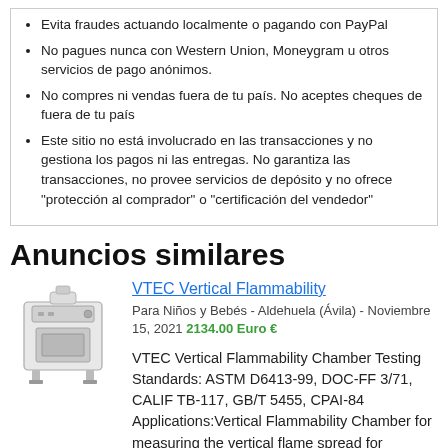Evita fraudes actuando localmente o pagando con PayPal
No pagues nunca con Western Union, Moneygram u otros servicios de pago anónimos.
No compres ni vendas fuera de tu país. No aceptes cheques de fuera de tu país
Este sitio no está involucrado en las transacciones y no gestiona los pagos ni las entregas. No garantiza las transacciones, no provee servicios de depósito y no ofrece "protección al comprador" o "certificación del vendedor"
Anuncios similares
[Figure (photo): Photo of a VTEC Vertical Flammability Chamber machine, a white/grey box-shaped laboratory device]
VTEC Vertical Flammability
Para Niños y Bebés - Aldehuela (Ávila) - Noviembre 15, 2021 2134.00 Euro €
VTEC Vertical Flammability Chamber Testing Standards: ASTM D6413-99, DOC-FF 3/71, CALIF TB-117, GB/T 5455, CPAI-84 Applications:Vertical Flammability Chamber for measuring the vertical flame spread for children's sleepwear, fabrics, othe